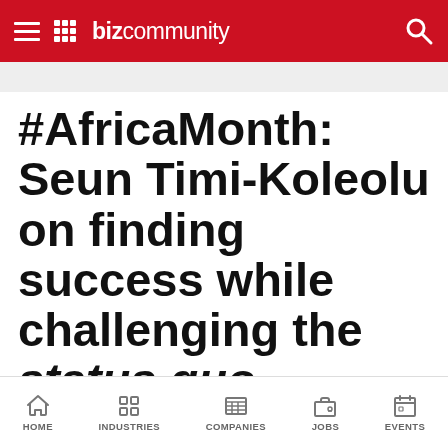Bizcommunity
#AfricaMonth: Seun Timi-Koleolu on finding success while challenging the status quo
[Figure (other): Social share buttons: Facebook, Twitter, LinkedIn, WhatsApp; and a next arrow button]
HOME | INDUSTRIES | COMPANIES | JOBS | EVENTS